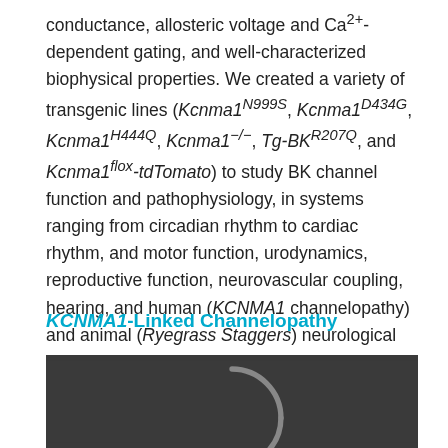conductance, allosteric voltage and Ca2+-dependent gating, and well-characterized biophysical properties. We created a variety of transgenic lines (Kcnma1N999S, Kcnma1D434G, Kcnma1H444Q, Kcnma1−/−, Tg-BKR207Q, and Kcnma1flox-tdTomato) to study BK channel function and pathophysiology, in systems ranging from circadian rhythm to cardiac rhythm, and motor function, urodynamics, reproductive function, neurovascular coupling, hearing, and human (KCNMA1 channelopathy) and animal (Ryegrass Staggers) neurological disease.
KCNMA1-Linked Channelopathy
[Figure (photo): Dark background image showing a partial circular shape (spinner/loading indicator or logo) in the lower portion of the page, against a dark gray background.]